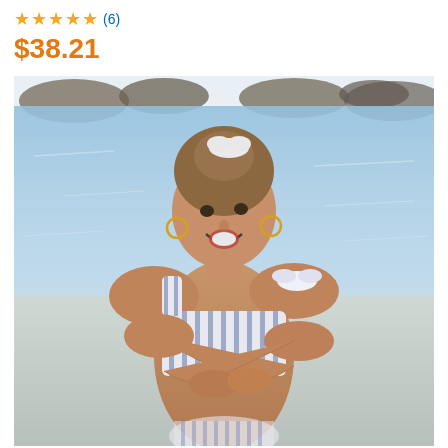★★★★★ (6)
$38.21
[Figure (photo): A smiling woman at a beach wearing a blue and white striped one-shoulder bikini top with a bow tie on the shoulder, arms crossed, with ocean water and rocks in the background]